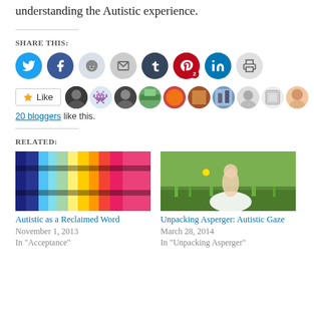understanding the Autistic experience.
SHARE THIS:
[Figure (infographic): Social share icons: Twitter, Facebook, Reddit, Email, Tumblr, Pinterest (with badge 2), LinkedIn, Print]
[Figure (infographic): Like button and row of 10 blogger avatars]
20 bloggers like this.
RELATED:
[Figure (photo): Colorful abstract stripes image – related post thumbnail for Autistic as a Reclaimed Word]
Autistic as a Reclaimed Word
November 1, 2013
In "Acceptance"
[Figure (photo): Girl in white tutu dress in green field – related post thumbnail for Unpacking Asperger: Autistic Gaze]
Unpacking Asperger: Autistic Gaze
March 28, 2014
In "Unpacking Asperger"